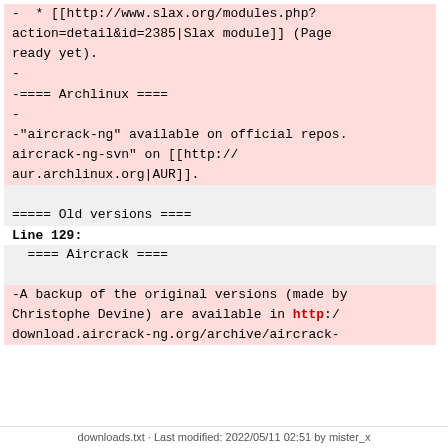-  * [[http://www.slax.org/modules.php?action=detail&id=2385|Slax module]] (Page ready yet).
-
-==== Archlinux ====
-
-"aircrack-ng" available on official repos. aircrack-ng-svn" on [[http://aur.archlinux.org|AUR]].
===== Old versions ====
Line 129:
==== Aircrack ====
-A backup of the original versions (made by Christophe Devine) are available in http://download.aircrack-ng.org/archive/aircrack-
downloads.txt · Last modified: 2022/05/11 02:51 by mister_x